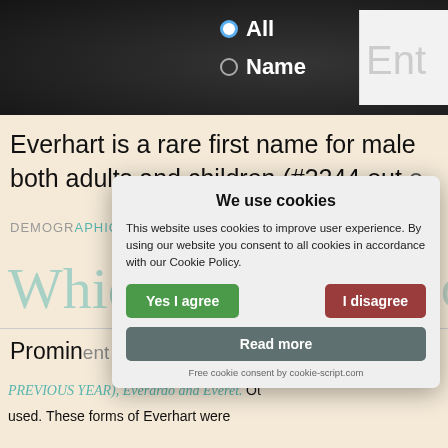All Name
Everhart is a rare first name for males both adults and children (#3244 out of...
DEMOGRAPHICS)
Which... (related forms / Concept) /
Prominent related forms of Everhart (
PREVIOUS YEAR), Everardo and Everet. Ot used. These forms of Everhart were
We use cookies

This website uses cookies to improve user experience. By using our website you consent to all cookies in accordance with our Cookie Policy.

Yes I agree    I disagree

Read more

Free cookie consent by cookie-script.com